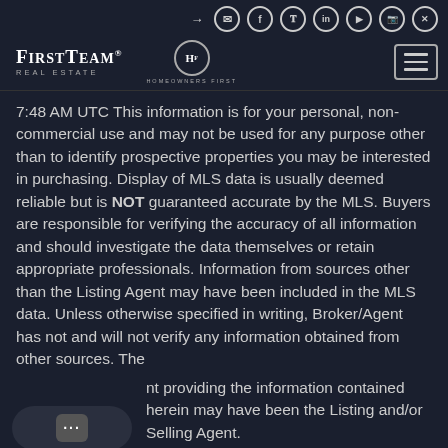FirstTeam Real Estate — Homeowners First — navigation header with social icons
7:48 AM UTC This information is for your personal, non-commercial use and may not be used for any purpose other than to identify prospective properties you may be interested in purchasing. Display of MLS data is usually deemed reliable but is NOT guaranteed accurate by the MLS. Buyers are responsible for verifying the accuracy of all information and should investigate the data themselves or retain appropriate professionals. Information from sources other than the Listing Agent may have been included in the MLS data. Unless otherwise specified in writing, Broker/Agent has not and will not verify any information obtained from other sources. The [chat widget] nt providing the information contained herein may have been the Listing and/or Selling Agent.